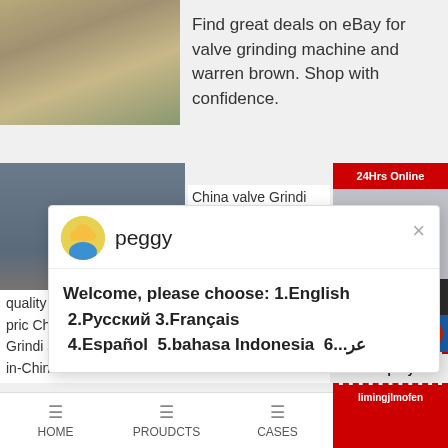[Figure (photo): Aerial view of industrial/mining site]
Find great deals on eBay for valve grinding machine and warren brown. Shop with confidence.
[Figure (photo): Industrial equipment parts photo]
[Figure (screenshot): Chat popup with agent named peggy. Message: Welcome, please choose: 1.English 2.Русский 3.Français 4.Español 5.bahasa Indonesia 6...عر]
China valve Grindi manufacturers - Sel
quality Valve Grinding Machine products in best pric Chinese Grinding Equipment manufacturers, Grindi suppliers, wholesalers and factory on Made-in-China
[Figure (screenshot): Right sidebar with 24Hrs Online banner, agent photo area, notification badge showing 1, Need question & suggestion? Chat Now button, Enquiry section, limingjlmofen button]
HOME
PROUDCTS
CASES
limingjlmofen